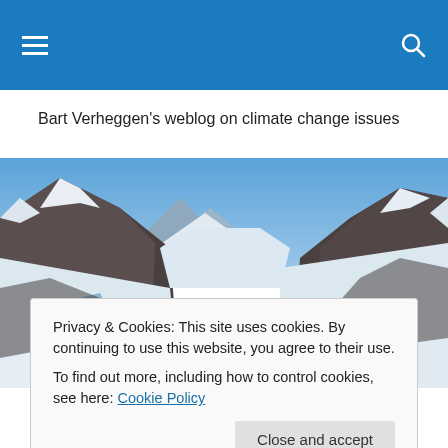≡  🔍
Bart Verheggen's weblog on climate change issues
[Figure (photo): Panoramic photo of a snow-covered alpine glacier valley with rocky mountain peaks on both sides and a flat glacial plain in the center under a blue sky.]
Privacy & Cookies: This site uses cookies. By continuing to use this website, you agree to their use.
To find out more, including how to control cookies, see here: Cookie Policy
[Close and accept]
Another open thread for discussing climate related issues